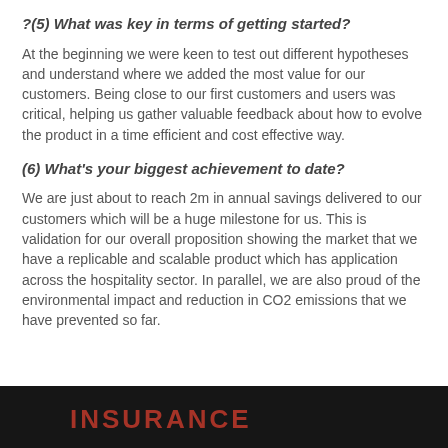?(5) What was key in terms of getting started?
At the beginning we were keen to test out different hypotheses and understand where we added the most value for our customers. Being close to our first customers and users was critical, helping us gather valuable feedback about how to evolve the product in a time efficient and cost effective way.
(6) What's your biggest achievement to date?
We are just about to reach 2m in annual savings delivered to our customers which will be a huge milestone for us. This is validation for our overall proposition showing the market that we have a replicable and scalable product which has application across the hospitality sector. In parallel, we are also proud of the environmental impact and reduction in CO2 emissions that we have prevented so far.
[Figure (photo): Dark background image with red text reading INSURANCE partially visible at the bottom of the page]